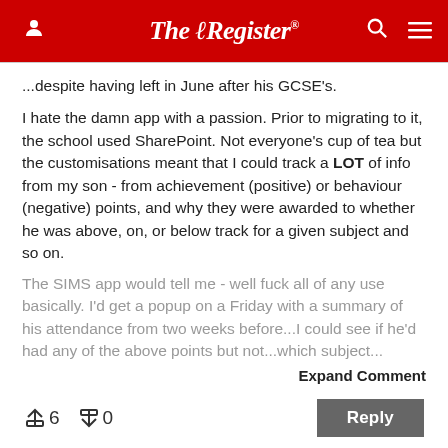The Register
...despite having left in June after his GCSE's.
I hate the damn app with a passion. Prior to migrating to it, the school used SharePoint. Not everyone's cup of tea but the customisations meant that I could track a LOT of info from my son - from achievement (positive) or behaviour (negative) points, and why they were awarded to whether he was above, on, or below track for a given subject and so on.
The SIMS app would tell me - well fuck all of any use basically. I'd get a popup on a Friday with a summary of his attendance from two weeks before...I could see if he'd had any of the above points but not...which subject...
Expand Comment
↑6   ↓0
Reply
Tuesday 17th July 2018 14:32 GMT